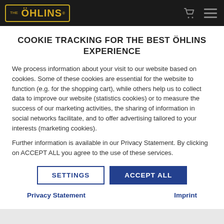[Figure (logo): Öhlins logo in yellow/gold text with border on dark navbar, with cart and menu icons on the right]
COOKIE TRACKING FOR THE BEST ÖHLINS EXPERIENCE
We process information about your visit to our website based on cookies. Some of these cookies are essential for the website to function (e.g. for the shopping cart), while others help us to collect data to improve our website (statistics cookies) or to measure the success of our marketing activities, the sharing of information in social networks facilitate, and to offer advertising tailored to your interests (marketing cookies).
Further information is available in our Privacy Statement. By clicking on ACCEPT ALL you agree to the use of these services.
SETTINGS | ACCEPT ALL (buttons)
Privacy Statement    Imprint